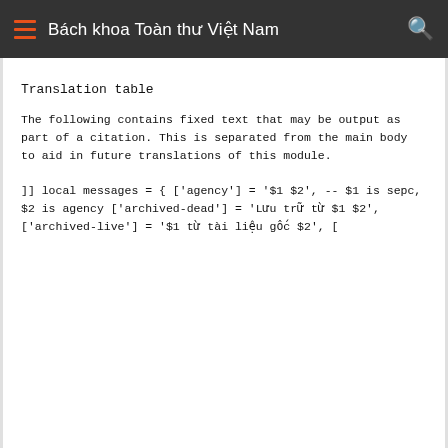Bách khoa Toàn thư Việt Nam
Translation table
The following contains fixed text that may be output as part of a citation. This is separated from the main body to aid in future translations of this module.
]]

local messages = {
        ['agency'] = '$1 $2',
-- $1 is sepc, $2 is agency
        ['archived-dead'] = 'Lưu trữ từ $1 $2',
        ['archived-live'] = '$1 từ tài liệu gốc $2',